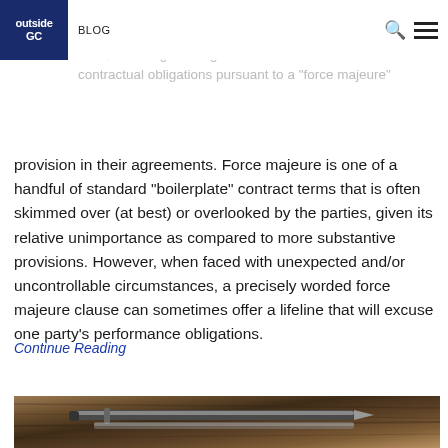outside GC | BLOG
ronavirus has toppled business as we know it, and companies are attempting to right themselves by back, including seeking to be excused from contractual obligations pursuant to a “force majeure” provision in their agreements. Force majeure is one of a handful of standard “boilerplate” contract terms that is often skimmed over (at best) or overlooked by the parties, given its relative unimportance as compared to more substantive provisions. However, when faced with unexpected and/or uncontrollable circumstances, a precisely worded force majeure clause can sometimes offer a lifeline that will excuse one party’s performance obligations.
Continue Reading
[Figure (photo): A pen and notepad resting on a wooden desk surface, photographed from above]